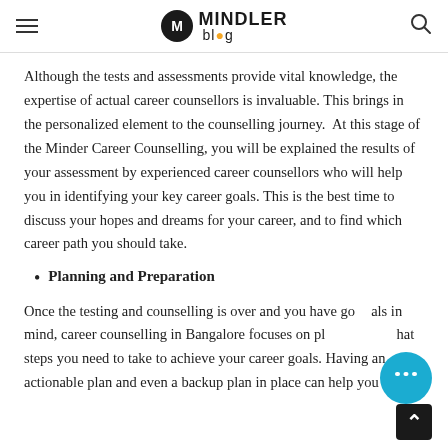MINDLER blog
Although the tests and assessments provide vital knowledge, the expertise of actual career counsellors is invaluable. This brings in the personalized element to the counselling journey.  At this stage of the Minder Career Counselling, you will be explained the results of your assessment by experienced career counsellors who will help you in identifying your key career goals. This is the best time to discuss your hopes and dreams for your career, and to find which career path you should take.
Planning and Preparation
Once the testing and counselling is over and you have goals in mind, career counselling in Bangalore focuses on planning what steps you need to take to achieve your career goals. Having an actionable plan and even a backup plan in place can help you